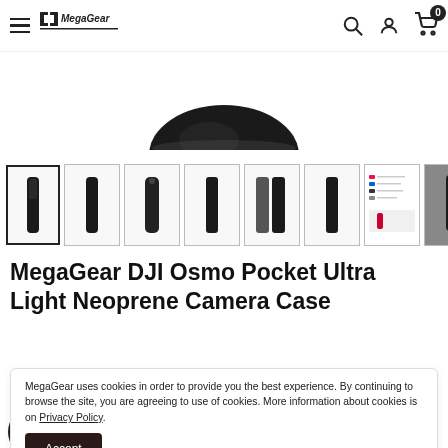MegaGear — navigation header with hamburger menu, logo, search, user, and cart icons
[Figure (photo): Partial view of a black neoprene camera case product image (top portion visible)]
[Figure (photo): Thumbnail strip showing 8 product images of the DJI Osmo Pocket neoprene camera case in various angles and colors; first thumbnail is selected with a border]
MegaGear DJI Osmo Pocket Ultra Light Neoprene Camera Case
MegaGear uses cookies in order to provide you the best experience. By continuing to browse the site, you are agreeing to use of cookies. More information about cookies is on Privacy Policy.
Accept
[Figure (other): Color swatch options at bottom: black (selected), dark gray, blue, pink, red]